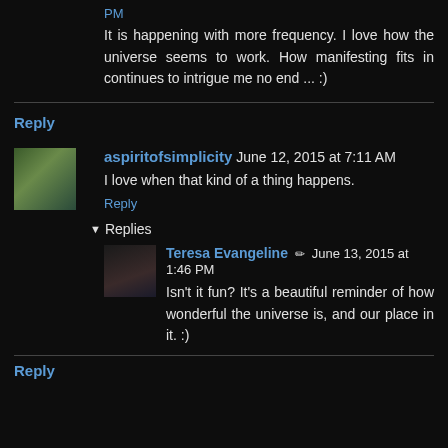PM
It is happening with more frequency. I love how the universe seems to work. How manifesting fits in continues to intrigue me no end ... :)
Reply
aspiritofsimplicity June 12, 2015 at 7:11 AM
I love when that kind of a thing happens.
Reply
Replies
Teresa Evangeline June 13, 2015 at 1:46 PM
Isn't it fun? It's a beautiful reminder of how wonderful the universe is, and our place in it. :)
Reply